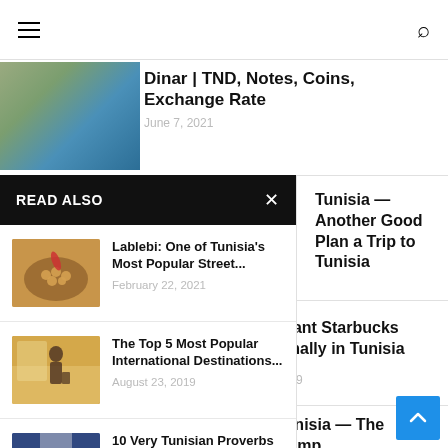Navigation bar with hamburger menu and search icon
[Figure (photo): Tunisian currency notes and coins photo]
Dinar | TND, Notes, Coins, Exchange Rate
June 7, 2021
READ ALSO
[Figure (photo): Bowl of lablebi chickpea soup with chili pepper]
Lablebi: One of Tunisia's Most Popular Street...
February 22, 2021
[Figure (photo): Person with luggage at airport]
The Top 5 Most Popular International Destinations...
August 23, 2019
[Figure (photo): Blue doors in Tunisia alleyway]
10 Very Tunisian Proverbs to Live By
Tunisia — Another Good Plan a Trip to Tunisia
Giant Starbucks Finally in Tunisia
2019
Tunisia — The Comp